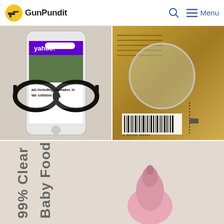GunPundit — Menu
[Figure (photo): Photo of a smartphone displaying Yahoo news feed, with black-framed glasses resting in front of it on a light surface. Visible headline: 'ad, including lawmaker, in lair collision']
[Figure (photo): Close-up photo of a gold/brown package with Chinese text and a barcode, with a magnifying glass lens placed on top of it]
[Figure (photo): Partial photo showing text 'Baby Food C... 99% Clear ...' on a light background, with a pink baby bottle nipple visible]